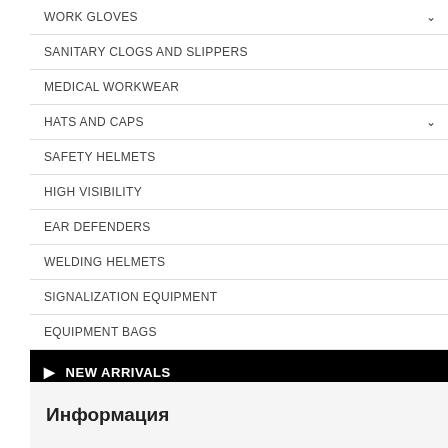WORK GLOVES
SANITARY CLOGS AND SLIPPERS
MEDICAL WORKWEAR
HATS AND CAPS
SAFETY HELMETS
HIGH VISIBILITY
EAR DEFENDERS
WELDING HELMETS
SIGNALIZATION EQUIPMENT
EQUIPMENT BAGS
NEW ARRIVALS
Информация